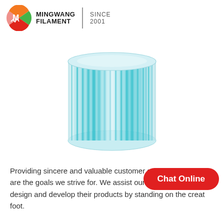[Figure (logo): Mingwang Filament company logo with orange/green/red circular icon, company name MINGWANG FILAMENT, and SINCE 2001]
[Figure (photo): Cylindrical filter or filament spool with teal/cyan colored vertical pleats or strands, semi-transparent, on white background]
Providing sincere and valuable customer services to clients are the goals we strive for. We assist our valued customer to design and develop their products by standing on the creat... foot.
[Figure (other): Chat Online red pill-shaped button overlay]